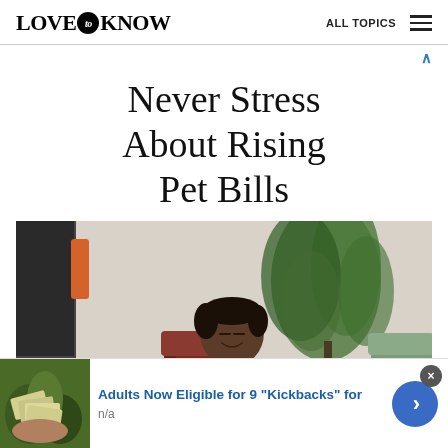LOVE to KNOW   ALL TOPICS
Never Stress About Rising Pet Bills
[Figure (photo): Person sitting peacefully with eyes closed, hands together at chest, in a room with a plant, dark red chair, and greenish couch in the background]
Adults Now Eligible for 9 "Kickbacks" for
n/a